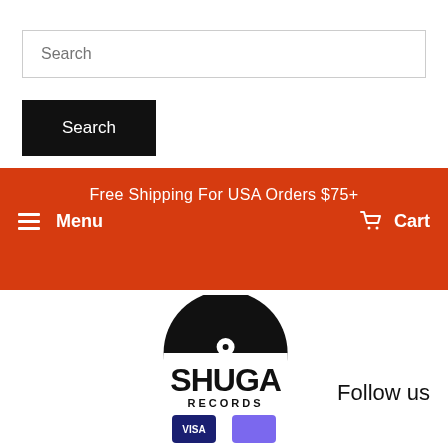Search
Search
Free Shipping For USA Orders $75+
≡ Menu
🛒 Cart
[Figure (logo): Shuga Records logo — vinyl record above bold text reading SHUGA RECORDS]
Follow us